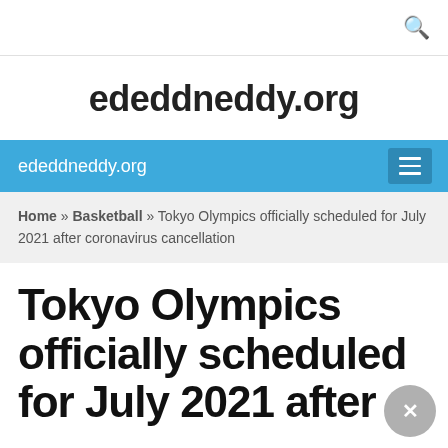ededdneddy.org
ededdneddy.org
Home » Basketball » Tokyo Olympics officially scheduled for July 2021 after coronavirus cancellation
Tokyo Olympics officially scheduled for July 2021 after coronavirus cancellation